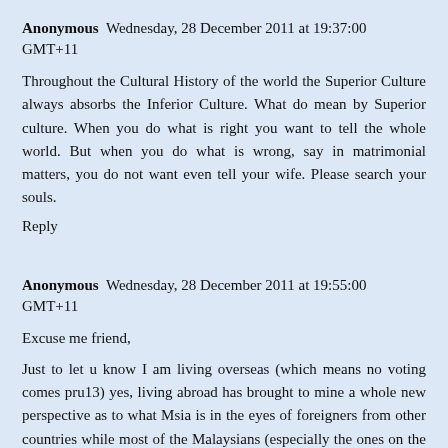Anonymous Wednesday, 28 December 2011 at 19:37:00 GMT+11
Throughout the Cultural History of the world the Superior Culture always absorbs the Inferior Culture. What do mean by Superior culture. When you do what is right you want to tell the whole world. But when you do what is wrong, say in matrimonial matters, you do not want even tell your wife. Please search your souls.
Reply
Anonymous Wednesday, 28 December 2011 at 19:55:00 GMT+11
Excuse me friend,
Just to let u know I am living overseas (which means no voting comes pru13) yes, living abroad has brought to mine a whole new perspective as to what Msia is in the eyes of foreigners from other countries while most of the Malaysians (especially the ones on the pembangkang side such as yourself thought lowly off or maybe it is only in my head or is it because the person that he is